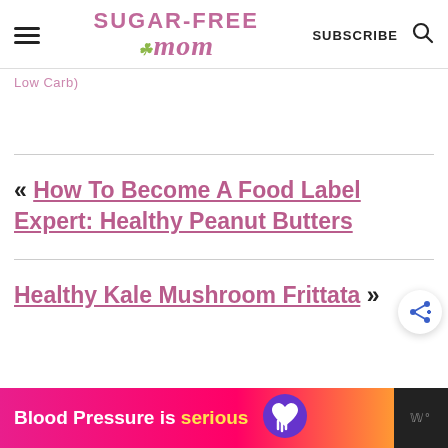SUGAR-FREE mom
Low Carb)
« How To Become A Food Label Expert: Healthy Peanut Butters
Healthy Kale Mushroom Frittata »
Blood Pressure is serious